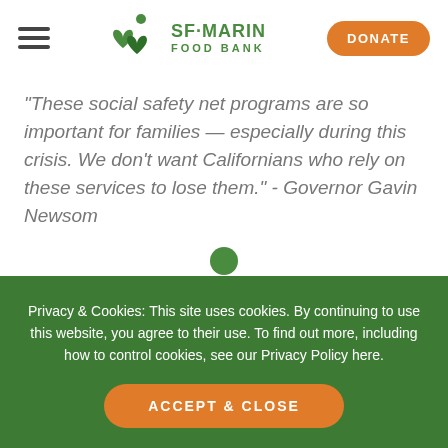[Figure (logo): SF-Marin Food Bank logo with two overlapping green heart shapes and a green apple icon, with hamburger menu on the left and DONATE button on the right]
“These social safety net programs are so important for families — especially during this crisis. We don’t want Californians who rely on these services to lose them.” - Governor Gavin Newsom
Privacy & Cookies: This site uses cookies. By continuing to use this website, you agree to their use. To find out more, including how to control cookies, see our Privacy Policy here.
ACCEPT & CLOSE